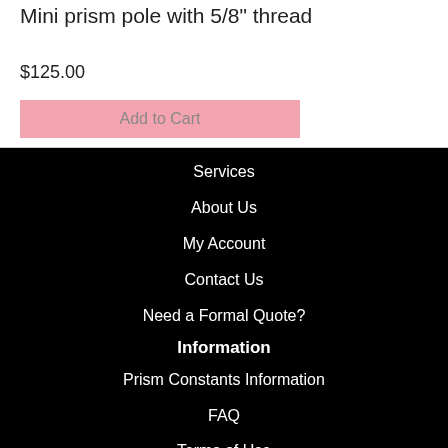Mini prism pole with 5/8" thread
$125.00
Add to Cart
Services
About Us
My Account
Contact Us
Need a Formal Quote?
Information
Prism Constants Information
FAQ
Terms of Use